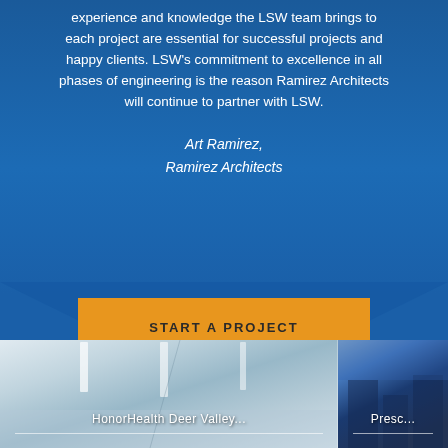experience and knowledge the LSW team brings to each project are essential for successful projects and happy clients. LSW's commitment to excellence in all phases of engineering is the reason Ramirez Architects will continue to partner with LSW.
Art Ramirez,
Ramirez Architects
START A PROJECT
[Figure (photo): Interior corridor photo of HonorHealth Deer Valley facility]
HonorHealth Deer Valley...
[Figure (photo): Exterior photo of Presc... (Prescott) facility at dusk/evening]
Presc...